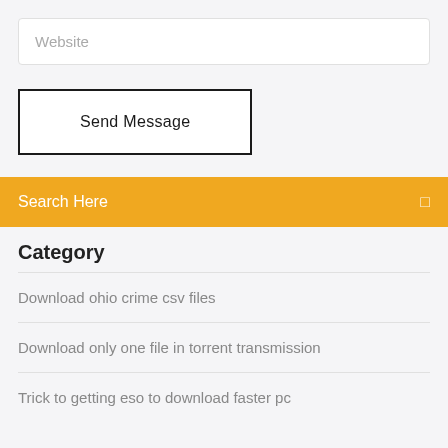Website
Send Message
Search Here
Category
Download ohio crime csv files
Download only one file in torrent transmission
Trick to getting eso to download faster pc